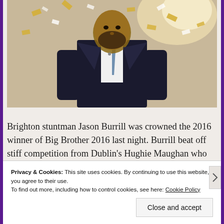[Figure (photo): A man in a dark suit and blue tie with confetti falling around him, likely celebrating winning Big Brother 2016]
Brighton stuntman Jason Burrill was crowned the 2016 winner of Big Brother 2016 last night. Burrill beat off stiff competition from Dublin's Hughie Maughan who finished second. 3rd place went to Nottingham's Jackson Blyton, 4th was Andy West from London, 5th spot went to
Privacy & Cookies: This site uses cookies. By continuing to use this website, you agree to their use.
To find out more, including how to control cookies, see here: Cookie Policy
Close and accept